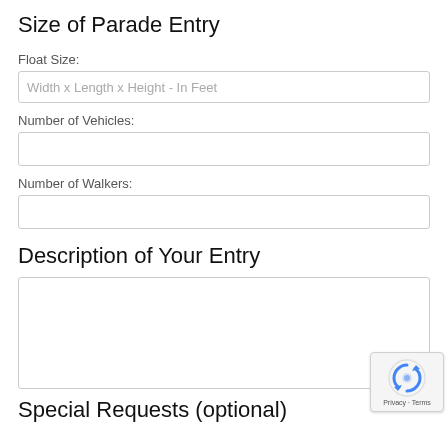Size of Parade Entry
Float Size:
Width x Length x Height - In Feet
Number of Vehicles:
Number of Walkers:
Description of Your Entry
Special Requests (optional)